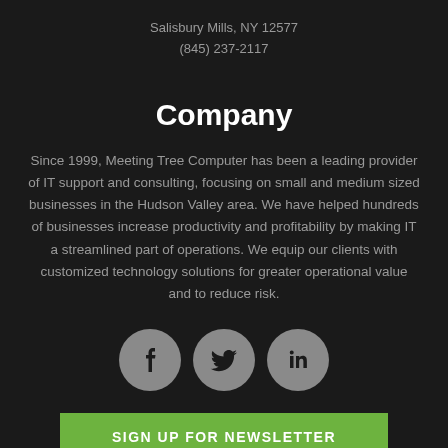Salisbury Mills, NY 12577
(845) 237-2117
Company
Since 1999, Meeting Tree Computer has been a leading provider of IT support and consulting, focusing on small and medium sized businesses in the Hudson Valley area. We have helped hundreds of businesses increase productivity and profitability by making IT a streamlined part of operations. We equip our clients with customized technology solutions for greater operational value and to reduce risk.
[Figure (infographic): Three circular social media icon buttons: Facebook (f), Twitter (bird), LinkedIn (in), in gray circles on dark background]
SIGN UP FOR NEWSLETTER